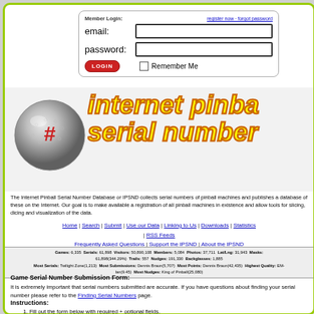[Figure (screenshot): Member login form with email and password fields, login button, remember me checkbox, and links to register/forgot password]
[Figure (illustration): Silver pinball with red # hashtag symbol on it]
internet pinball serial number
The Internet Pinball Serial Number Database or IPSND collects serial numbers of pinball machines and publishes a database of these on the Internet. Our goal is to make available a registration of all pinball machines in existence and allow tools for slicing, dicing and visualization of the data.
Home | Search | Submit | Use our Data | Linking to Us | Downloads | Statistics | RSS Feeds
Frequently Asked Questions | Support the IPSND | About the IPSND
Games: 6,335  Serials: 61,898  Visitors: 50,890,108  Members: 5,084  Photos: 37,711  Lat/Lng: 31,943  Masks: 61,898(344.29%)  Trails: 557  Nudges: 191,330  Backglasses: 1,885
Most Serials: Twilight Zone(1,213)  Most Submissions: Dennis Braun(5,707)  Most Points: Dennis Braun(42,435)  Highest Quality: EM-Ian(9.45)  Most Nudges: King of Pinball(25,080)
Game Serial Number Submission Form:
It is extremely important that serial numbers submitted are accurate. If you have questions about finding your serial number please refer to the Finding Serial Numbers page.
Instructions:
Fill out the form below with required + optional fields.
Verify the Serial Numbers entered for accuracy, then Submit.
Check your email at the address specified in the submission.
If your email address has a typo, your serial number submission is automatically submitted when identified.